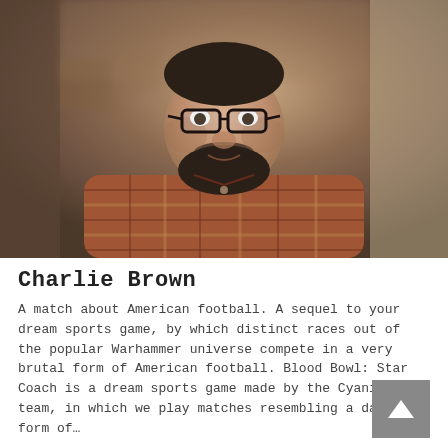[Figure (photo): A bearded man with glasses wearing a plaid flannel shirt, smiling, photographed from the waist up in an indoor setting with blurred background.]
Charlie Brown
A match about American football. A sequel to your dream sports game, by which distinct races out of the popular Warhammer universe compete in a very brutal form of American football. Blood Bowl: Star Coach is a dream sports game made by the Cyanide team, in which we play matches resembling a damn form of…